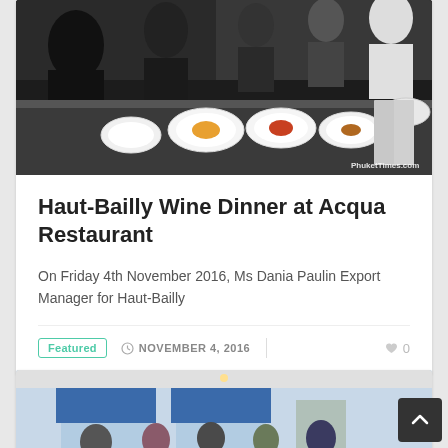[Figure (photo): Kitchen plating scene with chefs arranging food on white plates on a long counter, dark restaurant kitchen background. Watermark: PhuketTimes.com]
Haut-Bailly Wine Dinner at Acqua Restaurant
On Friday 4th November 2016, Ms Dania Paulin Export Manager for Haut-Bailly
Featured   NOVEMBER 4, 2016   0
[Figure (photo): Group of people standing in front of a restaurant entrance with blue awnings]